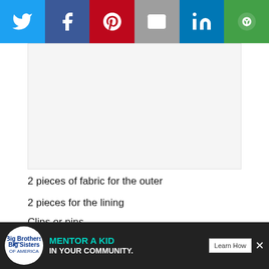[Figure (screenshot): Social media sharing bar with Twitter, Facebook, Pinterest, Email, LinkedIn, and another share button icons]
[Figure (other): Advertisement placeholder white space]
2 pieces of fabric for the outer
2 pieces for the lining
Clips or pins
DIRECTIONS:
Take one piece of the lining fabric and set it far
Set the zipper, tab to the right, right side up so the edge lines up with the lining edge.
[Figure (screenshot): Bottom advertisement: Big Brothers Big Sisters - MENTOR A KID IN YOUR COMMUNITY with Learn How button]